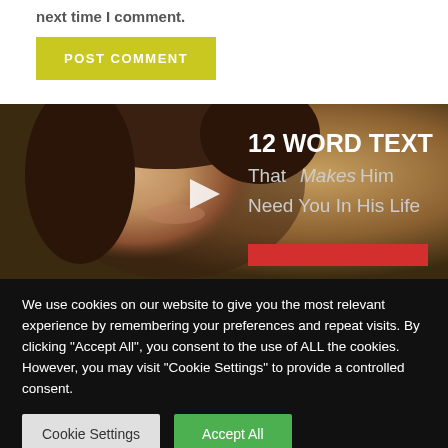next time I comment.
POST COMMENT
[Figure (photo): Video thumbnail showing a smiling woman with text '12 WORD TEXT That Makes Him Need You In His Life' and a play button overlay]
We use cookies on our website to give you the most relevant experience by remembering your preferences and repeat visits. By clicking "Accept All", you consent to the use of ALL the cookies. However, you may visit "Cookie Settings" to provide a controlled consent.
Cookie Settings
Accept All